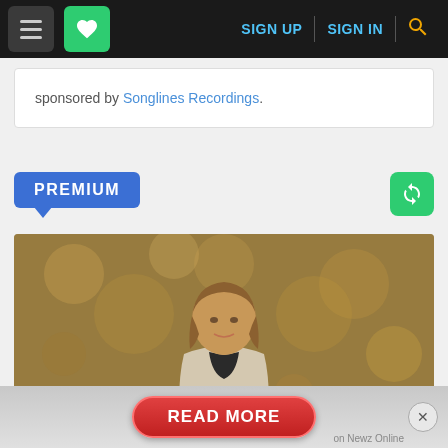Navigation bar with hamburger menu, heart/favorites icon, SIGN UP, SIGN IN links, and search icon
sponsored by Songlines Recordings.
PREMIUM
[Figure (photo): A person with long hair wearing a light jacket, sitting in front of a warm-toned background with bokeh/textured pattern]
[Figure (screenshot): Ad banner with red READ MORE button and X close button, labeled 'on Newz Online']